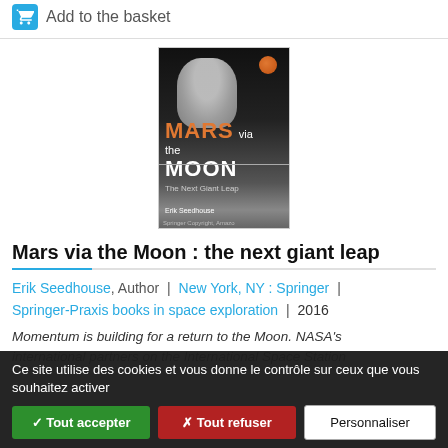Add to the basket
[Figure (photo): Book cover of 'Mars via the Moon: The Next Giant Leap' by Erik Seedhouse, published by Springer. Dark cover with astronaut, orange moon, and orange/white title text. Copyright Amazon watermark visible.]
Mars via the Moon : the next giant leap
Erik Seedhouse, Author | New York, NY : Springer | Springer-Praxis books in space exploration | 2016
Momentum is building for a return to the Moon. NASA's international partners on the International Space Station...
Ce site utilise des cookies et vous donne le contrôle sur ceux que vous souhaitez activer
✓ Tout accepter
✗ Tout refuser
Personnaliser